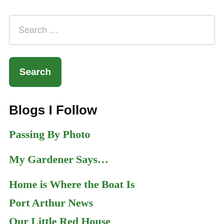Search …
Search
Blogs I Follow
Passing By Photo
My Gardener Says…
Home is Where the Boat Is
Port Arthur News
Our Little Red House